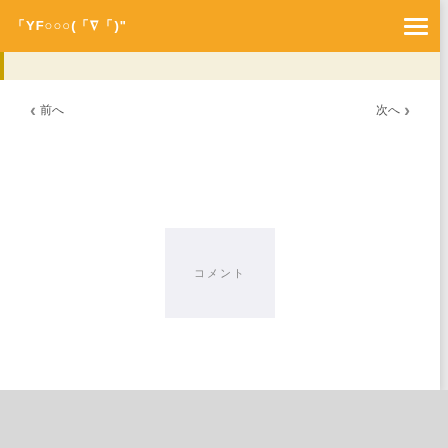「YF○○○(「∇「)"
[Figure (screenshot): A web page screenshot showing an orange header navigation bar with a site title and hamburger menu, a cream/beige sub-bar with gold left border, navigation arrows with text labels on left and right, a centered light gray placeholder box with Japanese/CJK characters, and a light gray bottom strip.]
前へ
次へ
コメント